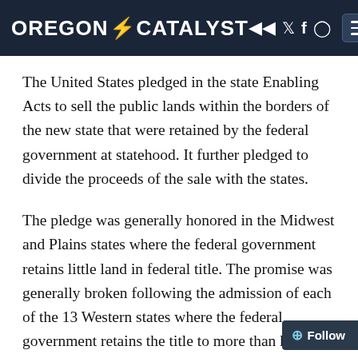OREGON CATALYST
The United States pledged in the state Enabling Acts to sell the public lands within the borders of the new state that were retained by the federal government at statehood. It further pledged to divide the proceeds of the sale with the states.
The pledge was generally honored in the Midwest and Plains states where the federal government retains little land in federal title. The promise was generally broken following the admission of each of the 13 Western states where the federal government retains the title to more than half of the land in Oregon and to as much as 87 percent of the land in Nevada.
Further the federal government explicitly b…